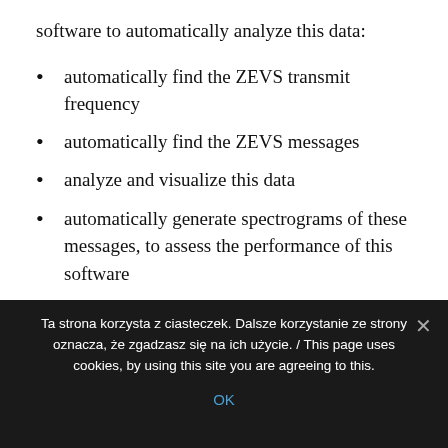software to automatically analyze this data:
automatically find the ZEVS transmit frequency
automatically find the ZEVS messages
analyze and visualize this data
automatically generate spectrograms of these messages, to assess the performance of this software
I hope that other may be published from hobbyists, geophysical monitoring stations etc
Ta strona korzysta z ciasteczek. Dalsze korzystanie ze strony oznacza, że zgadzasz się na ich użycie. / This page uses cookies, by using this site you are agreeing to this.
OK